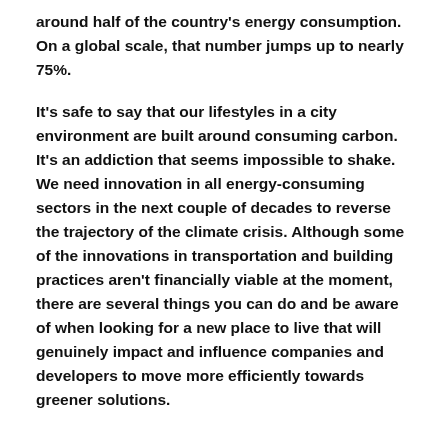around half of the country's energy consumption. On a global scale, that number jumps up to nearly 75%.
It's safe to say that our lifestyles in a city environment are built around consuming carbon. It's an addiction that seems impossible to shake. We need innovation in all energy-consuming sectors in the next couple of decades to reverse the trajectory of the climate crisis. Although some of the innovations in transportation and building practices aren't financially viable at the moment, there are several things you can do and be aware of when looking for a new place to live that will genuinely impact and influence companies and developers to move more efficiently towards greener solutions.